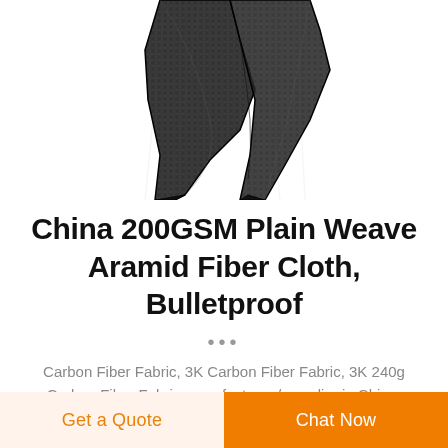[Figure (photo): Black mesh/net fabric draped and folded, hanging against white background — partial top crop]
China 200GSM Plain Weave Aramid Fiber Cloth, Bulletproof
...
Carbon Fiber Fabric, 3K Carbon Fiber Fabric, 3K 240g Carbon Fiber Fabric manufacturer / supplier in China,
Get a Quote
Chat Now